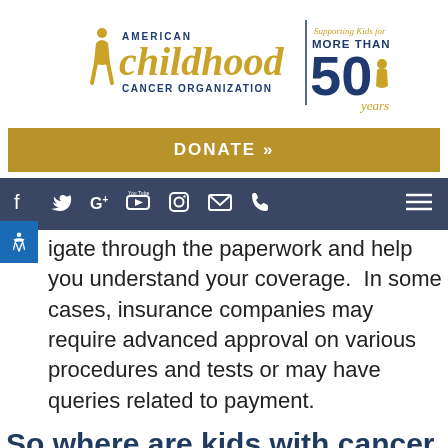[Figure (logo): American Childhood Cancer Organization logo with '50 years' anniversary badge and 'Supporting Kids for MORE THAN' text]
[Figure (infographic): Gold 'DONATE »' button bar]
[Figure (infographic): Dark navy navigation bar with social media icons (Facebook, Twitter, Google+, YouTube, Instagram, Email, Phone) and hamburger menu]
igate through the paperwork and help you understand your coverage.  In some cases, insurance companies may require advanced approval on various procedures and tests or may have queries related to payment.
So where are kids with cancer